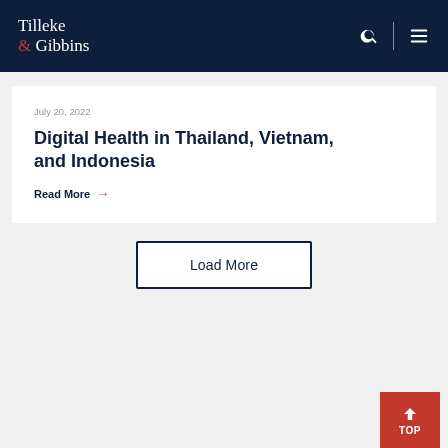Tilleke & Gibbins
July 20, 2022
Digital Health in Thailand, Vietnam, and Indonesia
Read More →
Load More